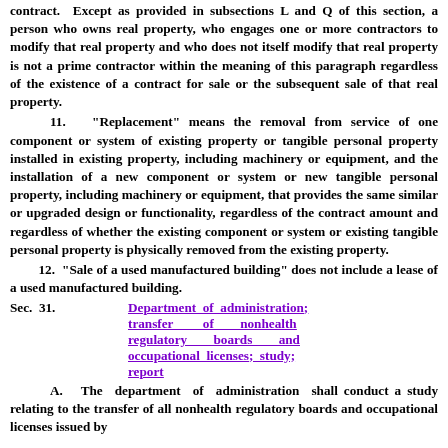contract. Except as provided in subsections L and Q of this section, a person who owns real property, who engages one or more contractors to modify that real property and who does not itself modify that real property is not a prime contractor within the meaning of this paragraph regardless of the existence of a contract for sale or the subsequent sale of that real property.
11. "Replacement" means the removal from service of one component or system of existing property or tangible personal property installed in existing property, including machinery or equipment, and the installation of a new component or system or new tangible personal property, including machinery or equipment, that provides the same similar or upgraded design or functionality, regardless of the contract amount and regardless of whether the existing component or system or existing tangible personal property is physically removed from the existing property.
12. "Sale of a used manufactured building" does not include a lease of a used manufactured building.
Sec. 31. Department of administration; transfer of nonhealth regulatory boards and occupational licenses; study; report
A. The department of administration shall conduct a study relating to the transfer of all nonhealth regulatory boards and occupational licenses issued by